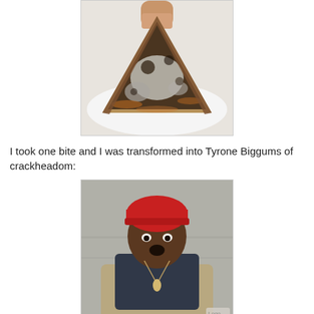[Figure (photo): A hand holding a slice of pizza with the bottom side facing up, showing a heavily charred, blackened, and greasy underside with orange-brown grease marks.]
I took one bite and I was transformed into Tyrone Biggums of crackheadom:
[Figure (photo): A man wearing a red beanie hat, navy hoodie, and tan jacket, looking shocked or surprised with mouth open. He wears a pendant necklace. There is a small TV network logo in the bottom right corner.]